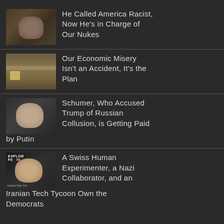He Called America Racist, Now He's in Charge of Our Nukes
Our Economic Misery Isn't an Accident, It's the Plan
Schumer, Who Accused Trump of Russian Collusion, is Getting Paid by Putin
A Swiss Human Experimenter, a Nazi Collaborator, and an Iranian Tech Tycoon Own the Democrats